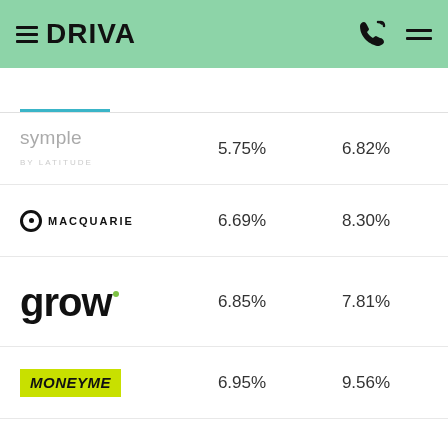DRIVA
| Lender | Rate | Comparison Rate |
| --- | --- | --- |
| Symple by Latitude | 5.75% | 6.82% |
| Macquarie | 6.69% | 8.30% |
| grow | 6.85% | 7.81% |
| MoneyMe | 6.95% | 9.56% |
| SocietyOne | 6.95% | 7.51% |